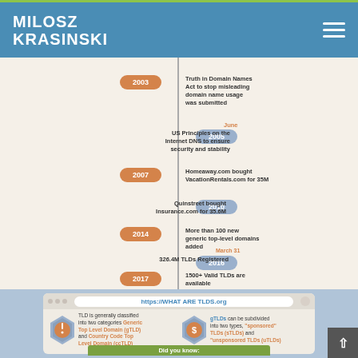MILOSZ KRASINSKI
[Figure (infographic): Timeline infographic showing domain name history events from 2003 to 2017. Events: 2003 - Truth in Domain Names Act to stop misleading domain name usage was submitted; 2005 (June) - US Principles on the Internet DNS to ensure security and stability; 2007 - Homeaway.com bought VacationRentals.com for 35M; 2010 - Quinstreet bought Insurance.com for 35.6M; 2014 - More than 100 new generic top-level domains added; 2016 (March 31) - 326.4M TLDs Registered; 2017 - 1500+ Valid TLDs are available]
[Figure (infographic): Browser mockup showing https://WHAT ARE TLDS.org with two hexagon icons. Left: TLD is generally classified into two categories Generic Top Level Domain (gTLD) and Country Code Top Level Domain (ccTLD). Right: gTLDs can be subdivided into two types, 'sponsored' TLDs (sTLDs) and 'unsponsored TLDs (uTLDs). Did you know section at bottom.]